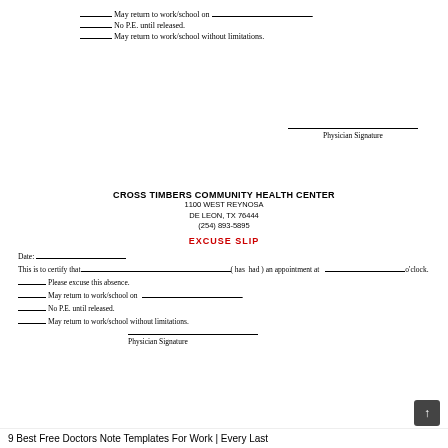________ May return to work/school on _______________________.
________ No P.E. until released.
________ May return to work/school without limitations.
Physician Signature
CROSS TIMBERS COMMUNITY HEALTH CENTER
1100 WEST REYNOSA
DE LEON, TX 76444
(254) 893-5895
EXCUSE SLIP
Date: ____________________
This is to certify that________________________________( has  had ) an appointment at ____________________o'clock.
________ Please excuse this absence.
________ May return to work/school on _______________________.
________ No P.E. until released.
________ May return to work/school without limitations.
Physician Signature
9 Best Free Doctors Note Templates For Work | Every Last